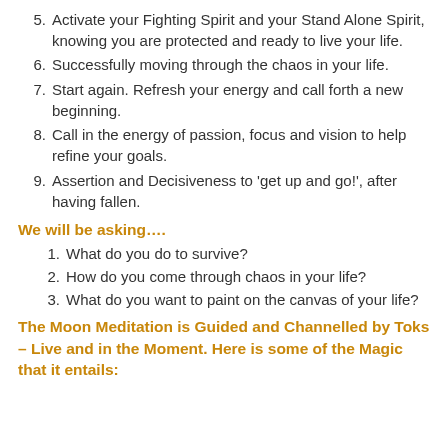5. Activate your Fighting Spirit and your Stand Alone Spirit, knowing you are protected and ready to live your life.
6. Successfully moving through the chaos in your life.
7. Start again. Refresh your energy and call forth a new beginning.
8. Call in the energy of passion, focus and vision to help refine your goals.
9. Assertion and Decisiveness to 'get up and go!', after having fallen.
We will be asking….
1. What do you do to survive?
2. How do you come through chaos in your life?
3. What do you want to paint on the canvas of your life?
The Moon Meditation is Guided and Channelled by Toks – Live and in the Moment. Here is some of the Magic that it entails: